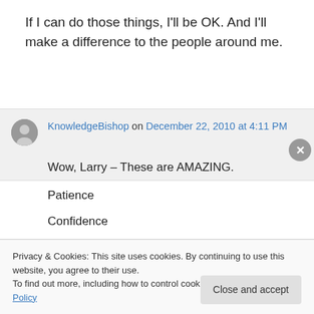If I can do those things, I'll be OK. And I'll make a difference to the people around me.
KnowledgeBishop on December 22, 2010 at 4:11 PM
Wow, Larry – These are AMAZING.
Patience
Confidence
Nobility
Privacy & Cookies: This site uses cookies. By continuing to use this website, you agree to their use.
To find out more, including how to control cookies, see here: Cookie Policy
Close and accept